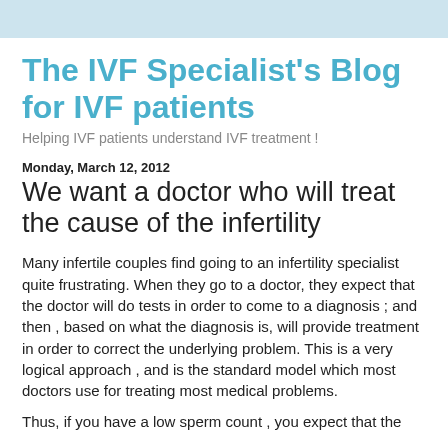The IVF Specialist's Blog for IVF patients
Helping IVF patients understand IVF treatment !
Monday, March 12, 2012
We want a doctor who will treat the cause of the infertility
Many infertile couples find going to an infertility specialist quite frustrating. When they go to a doctor, they expect that the doctor will do tests in order to come to a diagnosis ; and then , based on what the diagnosis is, will provide treatment in order to correct the underlying problem. This is a very logical approach , and is the standard model which most doctors use for treating most medical problems.
Thus, if you have a low sperm count , you expect that the